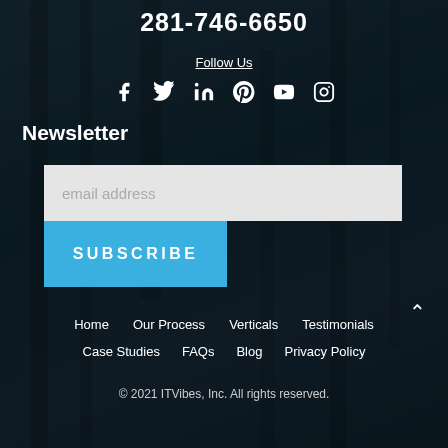281-746-6650
Follow Us
[Figure (illustration): Social media icons: Facebook, Twitter, LinkedIn, Pinterest, YouTube, Instagram]
Newsletter
email address
SUBSCRIBE
Home   Our Process   Verticals   Testimonials
Case Studies   FAQs   Blog   Privacy Policy
© 2021 ITVibes, Inc. All rights reserved.